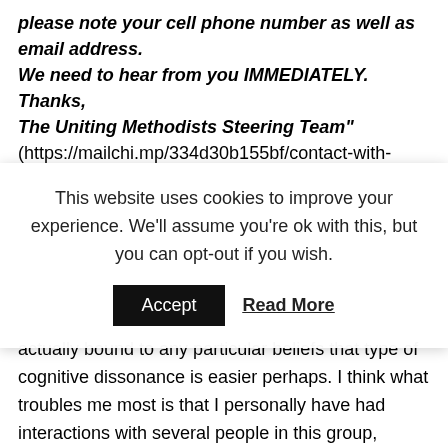please note your cell phone number as well as email address.
We need to hear from you IMMEDIATELY.
Thanks,
The Uniting Methodists Steering Team"
(https://mailchi.mp/334d30b155bf/contact-with-
This website uses cookies to improve your experience. We'll assume you're ok with this, but you can opt-out if you wish.  Accept  Read More
actually bound to any particular beliefs that type of cognitive dissonance is easier perhaps. I think what troubles me most is that I personally have had interactions with several people in this group, whom I like and respect, that can not see what is right in front of them for whatever reason.